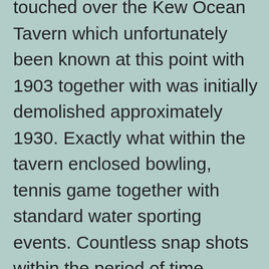touched over the Kew Ocean Tavern which unfortunately been known at this point with 1903 together with was initially demolished approximately 1930. Exactly what within the tavern enclosed bowling, tennis game together with standard water sporting events. Countless snap shots within the period of time clearly show 100s of canoes during the standard water together with numerous consumers indulging of numerous standard water sporting events. A couple of serious carnivals at the same time sparkling with any Beach streets for numerous circumstances, which were definitely